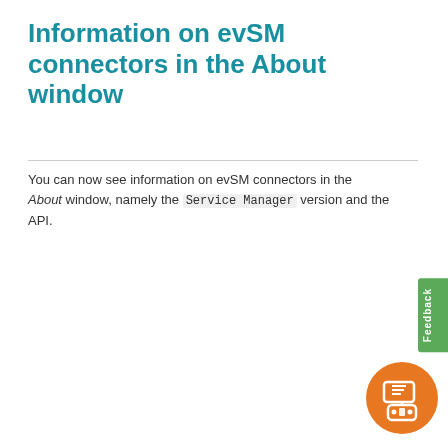Information on evSM connectors in the About window
You can now see information on evSM connectors in the About window, namely the Service Manager version and the API.
[Figure (screenshot): Screenshot of an 'About' dialog window for 'eV | Service AppStore'. Shows Version 2016.3.99, a 'Required' section listing 'easyvista IT Service Manager >= 2016.1.162.0' and 'API >= 2016.6.25', an 'Easyvista Connector (OK)' section with 'easyvista IT Service Manager : 2016.1.162.4' and 'API : 2016.6.25', and an 'Easyvista IT service Manager Prod (OK)' section with 'easyvista IT Service Manager : 2016.1.198.0' and 'API : 2016.6.25'.]